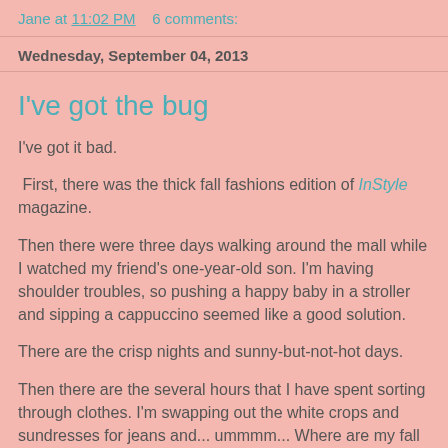Jane at 11:02 PM    6 comments:
Wednesday, September 04, 2013
I've got the bug
I've got it bad.
First, there was the thick fall fashions edition of InStyle magazine.
Then there were three days walking around the mall while I watched my friend's one-year-old son. I'm having shoulder troubles, so pushing a happy baby in a stroller and sipping a cappuccino seemed like a good solution.
There are the crisp nights and sunny-but-not-hot days.
Then there are the several hours that I have spent sorting through clothes. I'm swapping out the white crops and sundresses for jeans and... ummmm... Where are my fall